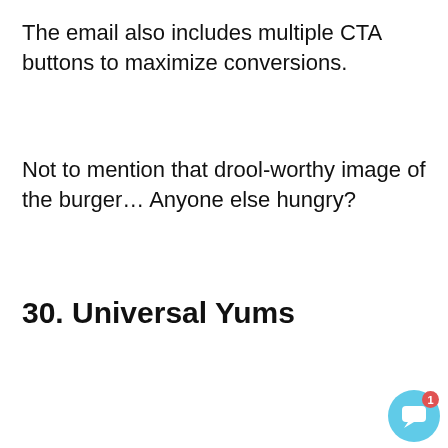The email also includes multiple CTA buttons to maximize conversions.
Not to mention that drool-worthy image of the burger… Anyone else hungry?
30. Universal Yums
[Figure (screenshot): Screenshot of a website with a chat popup from KlientBoost saying 'Hey there, we're seeing some marketing...' and a cookie consent banner with 'Accept' button, overlaid on a food/restaurant email image with blue and red bars.]